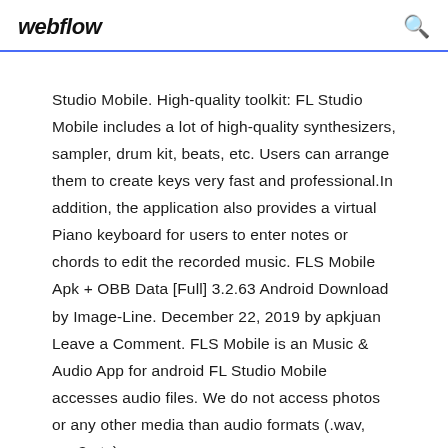webflow
Studio Mobile. High-quality toolkit: FL Studio Mobile includes a lot of high-quality synthesizers, sampler, drum kit, beats, etc. Users can arrange them to create keys very fast and professional.In addition, the application also provides a virtual Piano keyboard for users to enter notes or chords to edit the recorded music. FLS Mobile Apk + OBB Data [Full] 3.2.63 Android Download by Image-Line. December 22, 2019 by apkjuan Leave a Comment. FLS Mobile is an Music & Audio App for android FL Studio Mobile accesses audio files. We do not access photos or any other media than audio formats (.wav, .mp3 etc).